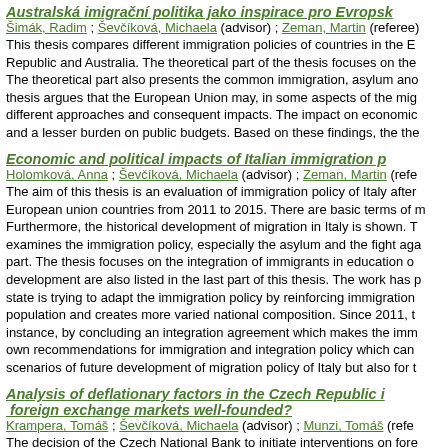Australská imigrační politika jako inspirace pro Evropsk...
Šimák, Radim ; Ševčíková, Michaela (advisor) ; Zeman, Martin (referee) This thesis compares different immigration policies of countries in the E... Republic and Australia. The theoretical part of the thesis focuses on the... The theoretical part also presents the common immigration, asylum and... thesis argues that the European Union may, in some aspects of the mig... different approaches and consequent impacts. The impact on economic... and a lesser burden on public budgets. Based on these findings, the the...
Economic and political impacts of Italian immigration p...
Holomková, Anna ; Ševčíková, Michaela (advisor) ; Zeman, Martin (refe... The aim of this thesis is an evaluation of immigration policy of Italy after... European union countries from 2011 to 2015. There are basic terms of m... Furthermore, the historical development of migration in Italy is shown. T... examines the immigration policy, especially the asylum and the fight aga... part. The thesis focuses on the integration of immigrants in education o... development are also listed in the last part of this thesis. The work has p... state is trying to adapt the immigration policy by reinforcing immigration... population and creates more varied national composition. Since 2011, t... instance, by concluding an integration agreement which makes the imm... own recommendations for immigration and integration policy which can... scenarios of future development of migration policy of Italy but also for t...
Analysis of deflationary factors in the Czech Republic i... foreign exchange markets well-founded?
Krampera, Tomáš ; Ševčíková, Michaela (advisor) ; Munzi, Tomáš (refe... The decision of the Czech National Bank to initiate interventions on fore...